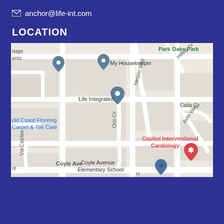anchor@life-int.com
LOCATION
[Figure (map): Google Maps view showing Life Integrated location, with nearby landmarks including My Housekeeper, Park Oaks Park, Gold Coast Flooring Carpet & Tile Care, Capitol Interventional Cardiology, Coyle Avenue Elementary School. Streets visible: Hesper Way, Hilltop Dr, Cada Cir, Aslin Way, Orsi Cir, Via Casitas, Coyle Ave.]